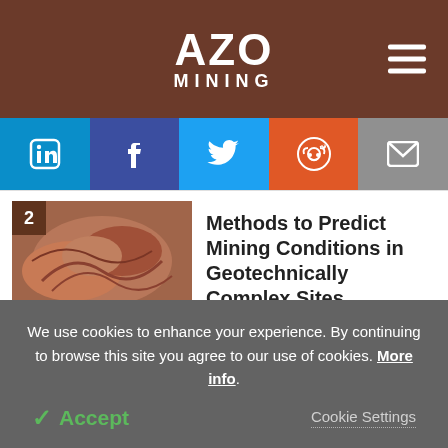AZO MINING
[Figure (screenshot): Social share buttons: LinkedIn, Facebook, Twitter, Reddit, Email]
[Figure (photo): Thumbnail 2: geological rock formation image]
Methods to Predict Mining Conditions in Geotechnically Complex Sites
[Figure (photo): Thumbnail 3: green hydrogen industrial plant image]
How is Green Hydrogen Being Used in Mining?
We use cookies to enhance your experience. By continuing to browse this site you agree to our use of cookies. More info.
✓ Accept   Cookie Settings